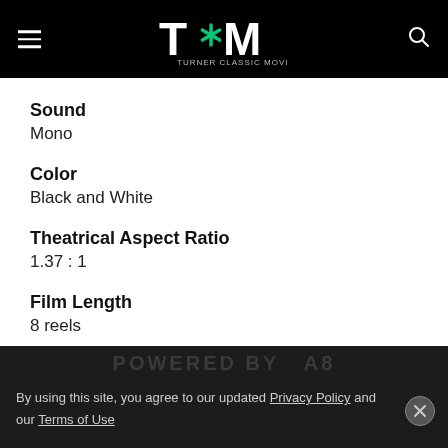TCM - Turner Classic Movies
Sound
Mono
Color
Black and White
Theatrical Aspect Ratio
1.37 : 1
Film Length
8 reels
By using this site, you agree to our updated Privacy Policy and our Terms of Use